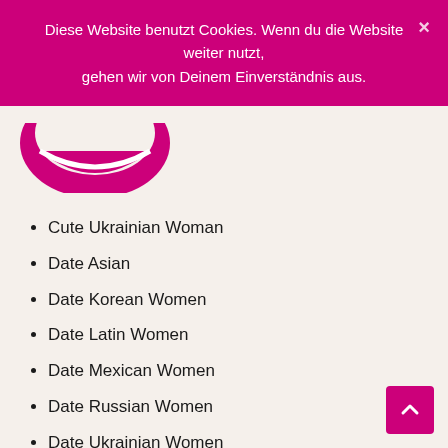Diese Website benutzt Cookies. Wenn du die Website weiter nutzt, gehen wir von Deinem Einverständnis aus.
[Figure (logo): Pink/magenta curved smile logo mark, partially visible]
Cute Ukrainian Woman
Date Asian
Date Korean Women
Date Latin Women
Date Mexican Women
Date Russian Women
Date Ukrainian Women
dating after divorce
Dating An Asian Girl
Dating Asian Girls